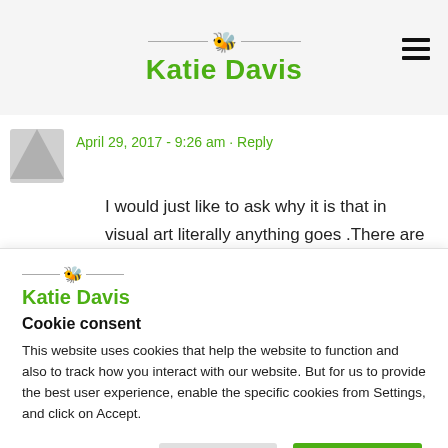Katie Davis
April 29, 2017 - 9:26 am · Reply
I would just like to ask why it is that in visual art literally anything goes .There are numerous examples of stuff (usually valued in the thousands) that are only fit for the waste paper basket. Wheras in poetry ,if the technical aspect
[Figure (logo): Katie Davis logo with bee icon and horizontal lines]
Cookie consent
This website uses cookies that help the website to function and also to track how you interact with our website. But for us to provide the best user experience, enable the specific cookies from Settings, and click on Accept.
Preferences   Reject All   Accept All